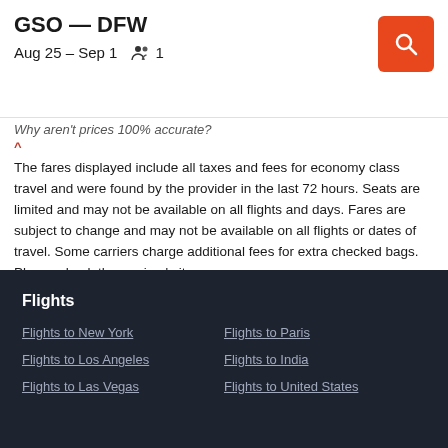GSO — DFW
Aug 25 – Sep 1    1
Why aren't prices 100% accurate?
^
The fares displayed include all taxes and fees for economy class travel and were found by the provider in the last 72 hours. Seats are limited and may not be available on all flights and days. Fares are subject to change and may not be available on all flights or dates of travel. Some carriers charge additional fees for extra checked bags. Please check the carriers' sites.
Flights
Flights to New York
Flights to Los Angeles
Flights to Las Vegas
Flights to Paris
Flights to India
Flights to United States